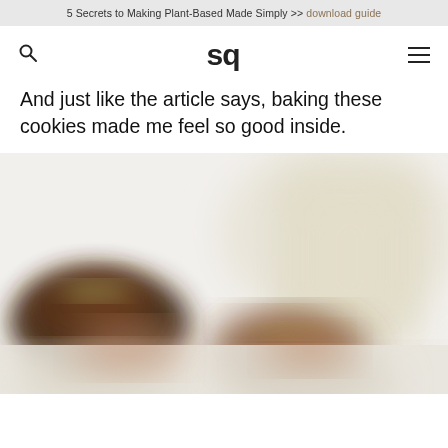5 Secrets to Making Plant-Based Made Simply >> download guide
[Figure (logo): sq logo with search icon and hamburger menu]
And just like the article says, baking these cookies made me feel so good inside.
[Figure (photo): Blurred close-up photo of chocolate cookies being held, with a glass of milk in the background]